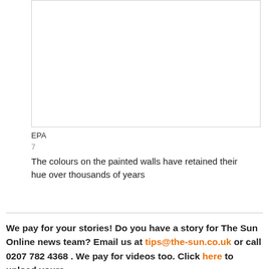[Figure (photo): White/blank image box with border representing a photo of painted walls]
EPA
7
The colours on the painted walls have retained their hue over thousands of years
We pay for your stories! Do you have a story for The Sun Online news team? Email us at tips@the-sun.co.uk or call 0207 782 4368 . We pay for videos too. Click here to upload yours